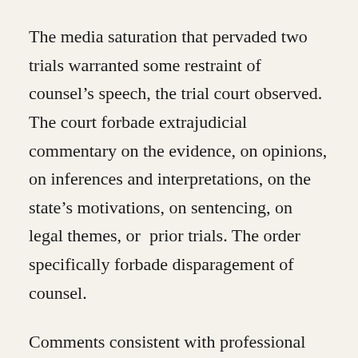The media saturation that pervaded two trials warranted some restraint of counsel’s speech, the trial court observed.  The court forbade extrajudicial commentary on the evidence, on opinions, on inferences and interpretations, on the state’s motivations, on sentencing, on legal themes, or  prior trials.  The order specifically forbade disparagement of counsel.
Comments consistent with professional standards concerning procedure were permissible.  The order would dissolve on swearing in of a jury.
The court refused to order the police to take down